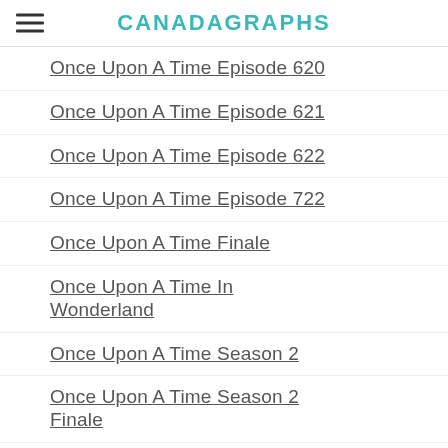CANADAGRAPHS
Once Upon A Time Episode 620
Once Upon A Time Episode 621
Once Upon A Time Episode 622
Once Upon A Time Episode 722
Once Upon A Time Finale
Once Upon A Time In Wonderland
Once Upon A Time Season 2
Once Upon A Time Season 2 Finale
Once Upon A Time Season 3
Once Upon A Time Season 3 Finale
Once Upon A Time Season 4
Once Upon A Time Season 5